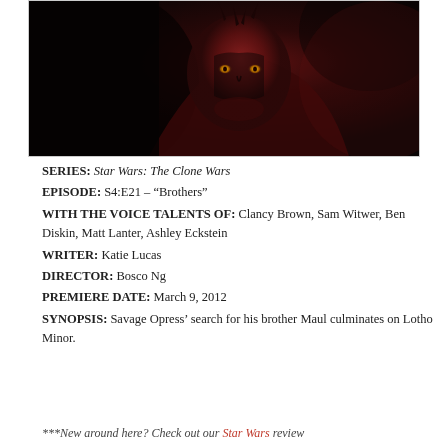[Figure (photo): Dark animated scene featuring a horned red and black creature (Darth Maul) with glowing yellow eyes, from Star Wars: The Clone Wars]
SERIES: Star Wars: The Clone Wars
EPISODE: S4:E21 – "Brothers"
WITH THE VOICE TALENTS OF: Clancy Brown, Sam Witwer, Ben Diskin, Matt Lanter, Ashley Eckstein
WRITER: Katie Lucas
DIRECTOR: Bosco Ng
PREMIERE DATE: March 9, 2012
SYNOPSIS: Savage Opress' search for his brother Maul culminates on Lotho Minor.
***New around here? Check out our Star Wars review